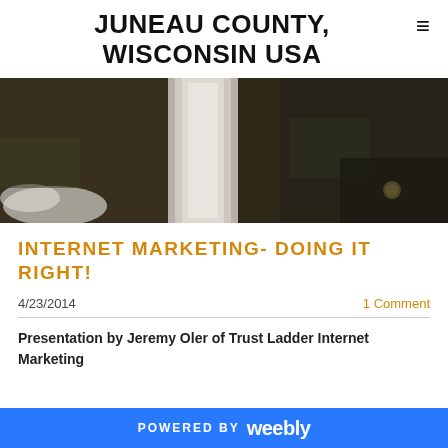JUNEAU COUNTY, WISCONSIN USA
[Figure (photo): A winter nature scene showing a frozen or icy waterfall surrounded by dark rocky terrain and vegetation, with a small bright element in the lower right corner.]
INTERNET MARKETING- DOING IT RIGHT!
4/23/2014
1 Comment
Presentation by Jeremy Oler of Trust Ladder Internet Marketing
POWERED BY weebly